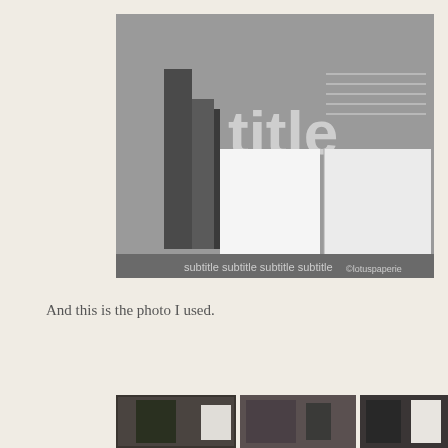[Figure (illustration): A scrapbook page template with a gray background, decorative geometric gray bars on the left, horizontal lines on the upper right, the word 'title' in large light gray text, two white rectangular photo placeholder areas, and 'subtitle subtitle subtitle subtitle' text along the bottom bar. Copyright mark '©lotuspaperie' in lower right.]
And this is the photo I used.
[Figure (photo): A partially visible strip of photos showing people's heads/hair, cropped at the bottom of the page.]